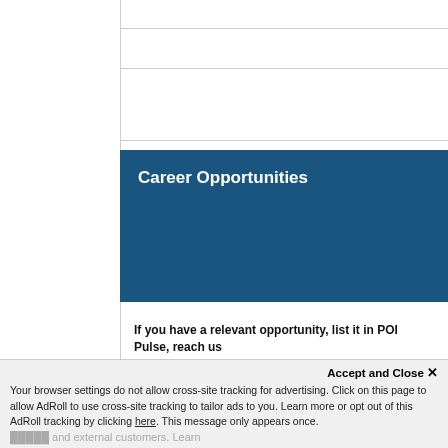Career Opportunities
If you have a relevant opportunity, list it in POI Pulse, reach us
Strategic Revenue Management Manager
Pharmavite
The Manager of Strategic Revenue Management supports the s management function, which seeks to maximize profitable reve portfolio while ensuring competitiveness in the market place.  H to develop and execute portfolio pricing ana
Accept and Close ✕
Your browser settings do not allow cross-site tracking for advertising. Click on this page to allow AdRoll to use cross-site tracking to tailor ads to you. Learn more or opt out of this AdRoll tracking by clicking here. This message only appears once.
and external customers. Learn